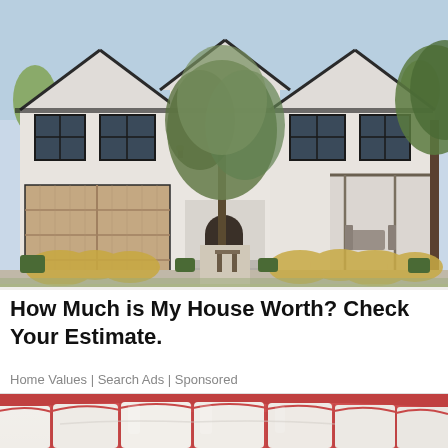[Figure (photo): Exterior photo of a large modern white farmhouse-style home with dark window frames, wooden garage doors, mature olive and other trees in front, manicured landscaping with ornamental grasses and boxwood hedges, stone pathway leading to front entrance, sunny day.]
How Much is My House Worth? Check Your Estimate.
Home Values | Search Ads | Sponsored
[Figure (photo): Close-up macro photo of human teeth and gums, showing white teeth against pink gum tissue, viewed from inside the mouth.]